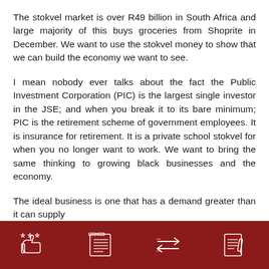The stokvel market is over R49 billion in South Africa and large majority of this buys groceries from Shoprite in December. We want to use the stokvel money to show that we can build the economy we want to see.
I mean nobody ever talks about the fact the Public Investment Corporation (PIC) is the largest single investor in the JSE; and when you break it to its bare minimum; PIC is the retirement scheme of government employees. It is insurance for retirement. It is a private school stokvel for when you no longer want to work. We want to bring the same thinking to growing black businesses and the economy.
The ideal business is one that has a demand greater than it can supply
[icons: thumbs up with stars, document/books, arrows, notepad with pen]